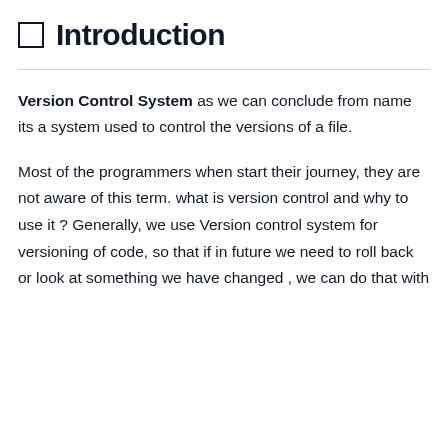□ Introduction
Version Control System as we can conclude from name its a system used to control the versions of a file.
Most of the programmers when start their journey, they are not aware of this term. what is version control and why to use it ? Generally, we use Version control system for versioning of code, so that if in future we need to roll back or look at something we have changed , we can do that with